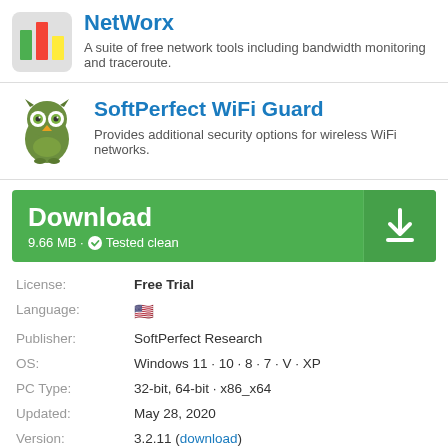[Figure (logo): NetWorx app icon with green, red, and yellow bar chart on gray background]
NetWorx
A suite of free network tools including bandwidth monitoring and traceroute.
[Figure (illustration): SoftPerfect WiFi Guard owl logo — cartoon green owl]
SoftPerfect WiFi Guard
Provides additional security options for wireless WiFi networks.
Download
9.66 MB - Tested clean
| Label | Value |
| --- | --- |
| License: | Free Trial |
| Language: | 🇺🇸 |
| Publisher: | SoftPerfect Research |
| OS: | Windows 11 · 10 · 8 · 7 · V · XP |
| PC Type: | 32-bit, 64-bit · x86_x64 |
| Updated: | May 28, 2020 |
| Version: | 3.2.11 (download) |